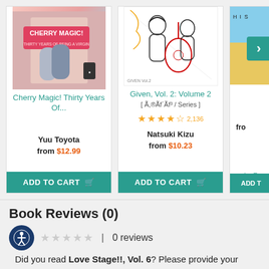[Figure (screenshot): Book product card for 'Cherry Magic! Thirty Years Of...' by Yuu Toyota. Shows book cover, title in teal, author name, price 'from $12.99', and Add to Cart button.]
[Figure (screenshot): Book product card for 'Given, Vol. 2: Volume 2 [ Ã,®Ãf´Ãf³ / Series ]' by Natsuki Kizu. Shows book cover with manga art, 4.5 stars with 2,136 reviews, price 'from $10.23', and Add to Cart button.]
[Figure (screenshot): Partially visible book product card with a navigation arrow '>' overlay and partial 'ADD T' button. Shows fro price stub.]
Book Reviews (0)
0 reviews
Did you read Love Stage!!, Vol. 6? Please provide your